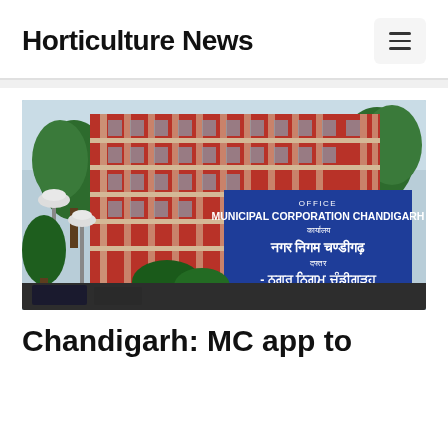Horticulture News
[Figure (photo): Photo of the Municipal Corporation Chandigarh office building with a blue sign board reading OFFICE MUNICIPAL CORPORATION CHANDIGARH in English, Hindi (नगर निगम चण्डीगढ़), and Punjabi (ਨਗਰ ਨਿਗਮ ਚੰਡੀਗੜ੍ਹ). The building is red with concrete columns and multiple floors, surrounded by trees and street lamps.]
Chandigarh: MC app to